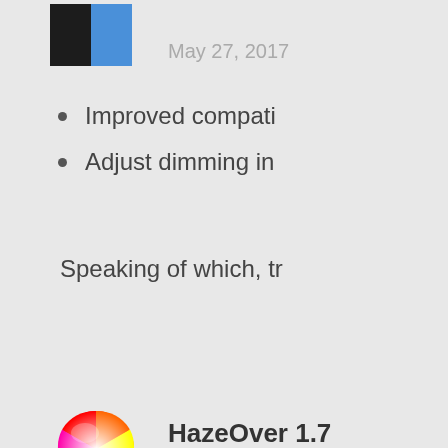[Figure (screenshot): App icon for HazeOver - dark/blue split screen icon]
May 27, 2017
Improved compati...
Adjust dimming in...
Speaking of which, tr...
[Figure (illustration): Colorful rainbow color wheel / color picker icon]
HazeOver 1.7...
March 11, 2016
Change the shading... brightness for better we... light emission without s...
Fixed: undesired d...
Fixed: HazeOver g... app);
Fixed: focused full...
Please rate or review...